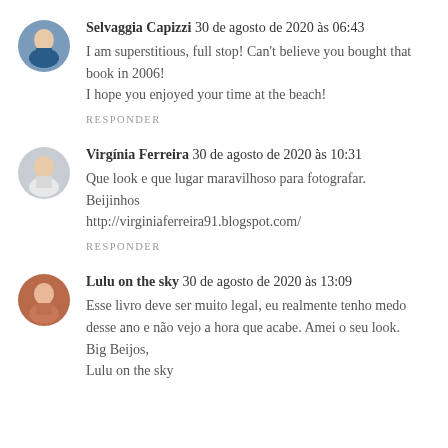Selvaggia Capizzi 30 de agosto de 2020 às 06:43
I am superstitious, full stop! Can't believe you bought that book in 2006!
I hope you enjoyed your time at the beach!
RESPONDER
Virgínia Ferreira 30 de agosto de 2020 às 10:31
Que look e que lugar maravilhoso para fotografar.
Bejinhos
http://virginiaferreira91.blogspot.com/
RESPONDER
Lulu on the sky 30 de agosto de 2020 às 13:09
Esse livro deve ser muito legal, eu realmente tenho medo desse ano e não vejo a hora que acabe. Amei o seu look.
Big Beijos,
Lulu on the sky